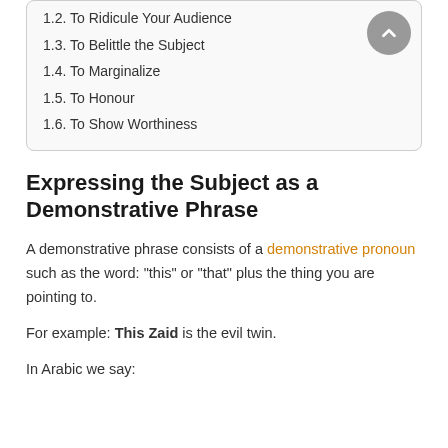1.2. To Ridicule Your Audience
1.3. To Belittle the Subject
1.4. To Marginalize
1.5. To Honour
1.6. To Show Worthiness
Expressing the Subject as a Demonstrative Phrase
A demonstrative phrase consists of a demonstrative pronoun such as the word: “this” or “that” plus the thing you are pointing to.
For example: This Zaid is the evil twin.
In Arabic we say: